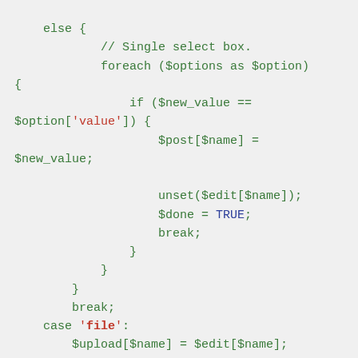PHP code snippet showing else block with foreach loop, if condition checking $new_value == $option['value'], setting $post[$name] = $new_value, unset($edit[$name]), $done = TRUE, break, closing braces, break, case 'file': $upload[$name] = $edit[$name], unset($edit[$name]), break, closing braces